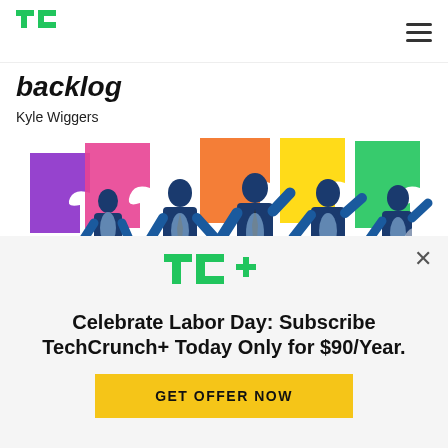TechCrunch logo and navigation
backlog
Kyle Wiggers
[Figure (illustration): Illustration of diverse business people in blue suits holding colorful jigsaw puzzle pieces above their heads in rainbow colors]
[Figure (logo): TechCrunch+ (TC+) logo in green]
Celebrate Labor Day: Subscribe TechCrunch+ Today Only for $90/Year.
GET OFFER NOW